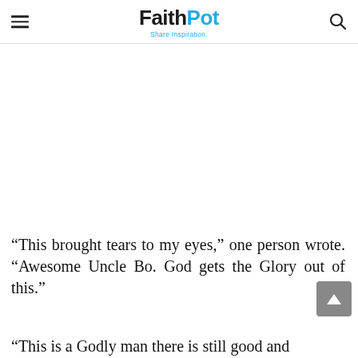FaithPot — Share Inspiration.
[Figure (other): White/blank advertisement area below the site header]
“This brought tears to my eyes,” one person wrote. “Awesome Uncle Bo. God gets the Glory out of this.”
“This is a Godly man there is still good and